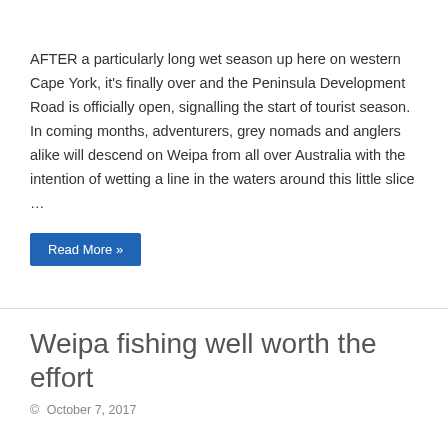AFTER a particularly long wet season up here on western Cape York, it's finally over and the Peninsula Development Road is officially open, signalling the start of tourist season. In coming months, adventurers, grey nomads and anglers alike will descend on Weipa from all over Australia with the intention of wetting a line in the waters around this little slice …
Read More »
Weipa fishing well worth the effort
© October 7, 2017